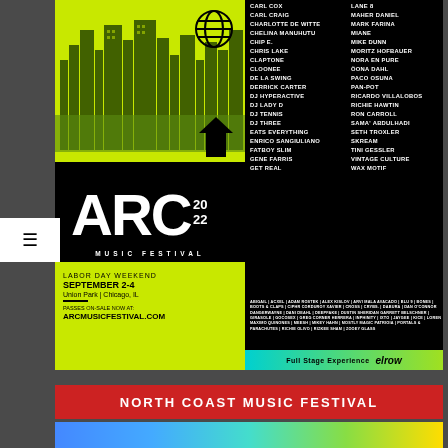[Figure (infographic): ARC Music Festival 2022 advertisement. Labor Day Weekend, September 2-4, Union Park, Chicago IL. Features lineup of artists, ARC logo on lime green and black background, elrow Full Stage Experience banner.]
LABOR DAY WEEKEND
SEPTEMBER 2-4
Union Park | Chicago, IL
PASSES ON-SALE NOW AT:
ARCMUSICFESTIVAL.COM
CARL COX | CARL CRAIG | CHARLOTTE DE WITTE | CHELINA MANUHUTU | CHIP E. | CHRIS LAKE | CLAPTONE | CLOONEE | DE LA SWING | DERRICK CARTER | DJ HYPERACTIVE | DJ LADY D | DJ TENNIS | DJ THREE | EATS EVERYTHING | ENRICO SANGIULIANO | FATBOY SLIM | GENE FARRIS | GET REAL | LANE 8 | MAHER DANIEL | MARK FARINA | MIANE | MIKE DUNN | MORITZ HOFBAUER | NORA EN PURE | ÖONA DAHL | PACO OSUNA | PAN-POT | RICARDO VILLALOBOS | RICHIE HAWTIN | RON CARROLL | SAMA' ABDULHADI | SETH TROXLER | SKREAM | TINI GESSLER | VINTAGE CULTURE | WAX MOTIF
ABIGAIL | ACXEL | ADAM ROSTEK | ALEX KISLOV | ARVI MALA AVACADO | BLU 9 | BONES | BOOTS & CLAPS | CIPHR CORDUROY XAVIER | CROSS | CRYBS. | DABURA | DAN O'CONNOR DANGERWAYNE | DANI DEAHL | DEEPFAKE | DUSTIN SHERIDAN GARRETT BELSCHNER | GIRASOLE | GOCOSEX | GREG CORNER HERRERA | INPHINITY | IXTO | JAYGEE | KICE | LOREN MAXIMO QUINONES | MEESH | MIKEY HAHN | MOSTLY MAGIC PATRIOIA | PORTALS & PARACHUTES | RICHIE OLIVO | RIZKEE SHAM | ZOOEY GLASS
Full Stage Experience elrow
NORTH COAST MUSIC FESTIVAL